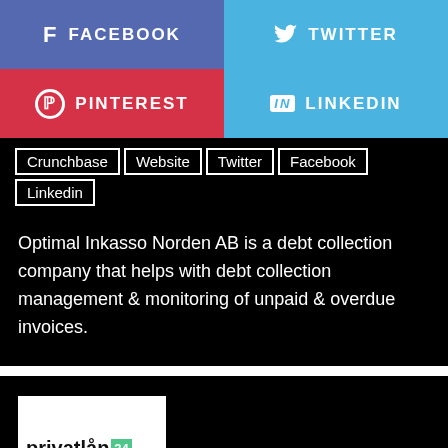[Figure (infographic): Social media share buttons: Facebook (purple-blue), Twitter (light blue), Pinterest (red), LinkedIn (light blue)]
Crunchbase  Website  Twitter  Facebook  Linkedin
Optimal Inkasso Norden AB is a debt collection company that helps with debt collection management & monitoring of unpaid & overdue invoices.
[Figure (logo): privatlån 24 logo on white background inside a black card]